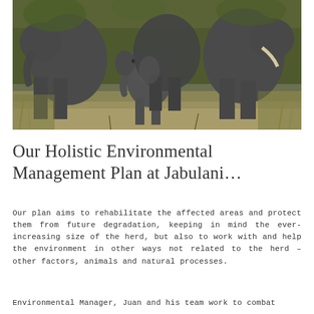[Figure (photo): A baby elephant walking between adult elephants in a grassy savanna setting. The scene shows multiple elephants with green vegetation and dry grass in the background.]
Our Holistic Environmental Management Plan at Jabulani…
Our plan aims to rehabilitate the affected areas and protect them from future degradation, keeping in mind the ever-increasing size of the herd, but also to work with and help the environment in other ways not related to the herd – other factors, animals and natural processes.
Environmental Manager, Juan and his team work to combat